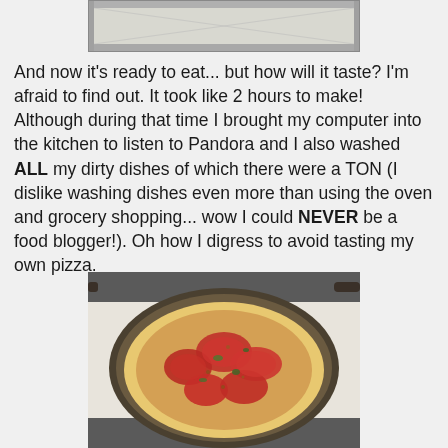[Figure (photo): Top portion of a photo showing what appears to be an oven or baking pan, cropped at the top of the page]
And now it's ready to eat... but how will it taste? I'm afraid to find out. It took like 2 hours to make! Although during that time I brought my computer into the kitchen to listen to Pandora and I also washed ALL my dirty dishes of which there were a TON (I dislike washing dishes even more than using the oven and grocery shopping... wow I could NEVER be a food blogger!). Oh how I digress to avoid tasting my own pizza.
[Figure (photo): A homemade pizza in a round dark pan, topped with sliced tomatoes, herbs, and cheese, sitting on a stovetop]